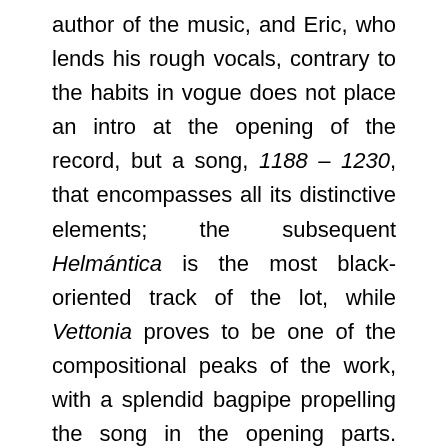author of the music, and Eric, who lends his rough vocals, contrary to the habits in vogue does not place an intro at the opening of the record, but a song, 1188 – 1230, that encompasses all its distinctive elements; the subsequent Helmántica is the most black-oriented track of the lot, while Vettonia proves to be one of the compositional peaks of the work, with a splendid bagpipe propelling the song in the opening parts. Conceyu is another little gem of gothic doom, close in sound to Nightfall, until a melancholic violin enters the scene to remind us of the band's folk soul, and the same happens in Yía Fatu A Tierra, where the stringed instrument played by guest Marco Aurelio